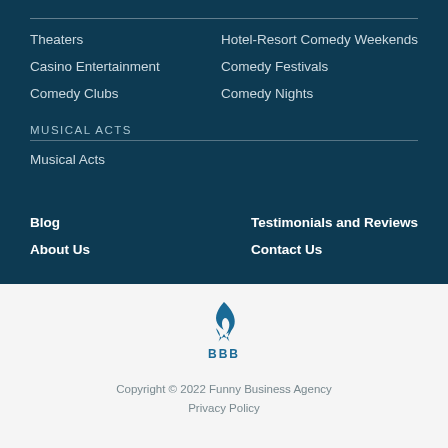Theaters
Casino Entertainment
Comedy Clubs
Hotel-Resort Comedy Weekends
Comedy Festivals
Comedy Nights
MUSICAL ACTS
Musical Acts
Blog
About Us
Testimonials and Reviews
Contact Us
[Figure (logo): BBB Better Business Bureau logo in dark teal/blue]
Copyright © 2022 Funny Business Agency
Privacy Policy